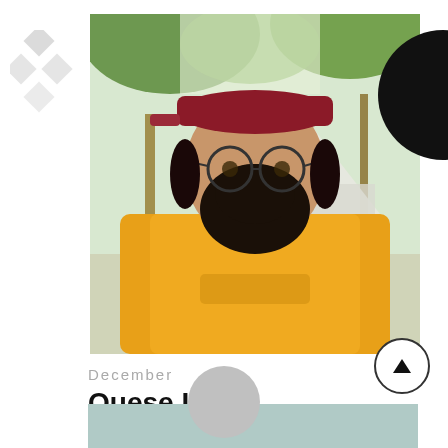[Figure (photo): Photo of a bearded man wearing round glasses, a red/maroon cap, and a yellow hoodie, standing outdoors among trees. There is a white tent-like structure visible in the background.]
December
Quese IMC